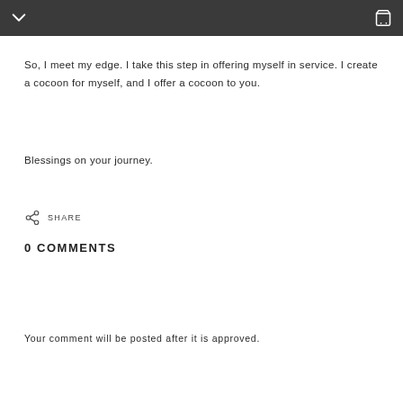[navigation bar with chevron and cart icons]
So, I meet my edge. I take this step in offering myself in service. I create a cocoon for myself, and I offer a cocoon to you.
Blessings on your journey.
SHARE
0 COMMENTS
Your comment will be posted after it is approved.